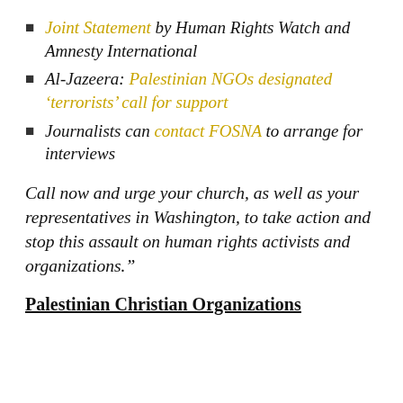Joint Statement by Human Rights Watch and Amnesty International
Al-Jazeera: Palestinian NGOs designated 'terrorists' call for support
Journalists can contact FOSNA to arrange for interviews
Call now and urge your church, as well as your representatives in Washington, to take action and stop this assault on human rights activists and organizations."
Palestinian Christian Organizations